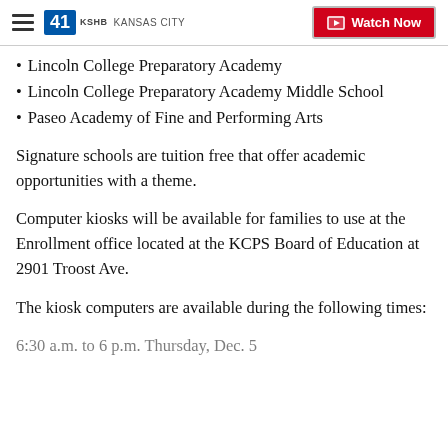41 KSHB KANSAS CITY | Watch Now
Lincoln College Preparatory Academy
Lincoln College Preparatory Academy Middle School
Paseo Academy of Fine and Performing Arts
Signature schools are tuition free that offer academic opportunities with a theme.
Computer kiosks will be available for families to use at the Enrollment office located at the KCPS Board of Education at 2901 Troost Ave.
The kiosk computers are available during the following times:
6:30 a.m. to 6 p.m. Thursday, Dec. 5